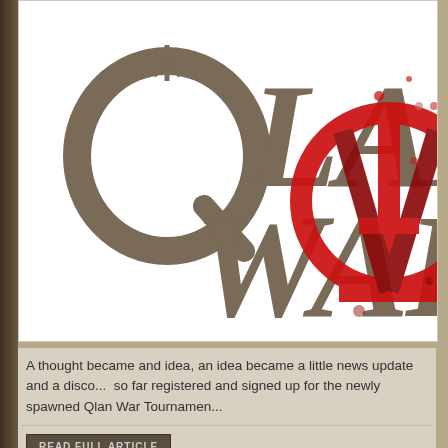[Figure (logo): Qlan War gaming logo — large stylized text 'QLAN WAR' in dark taupe/brown with sharp angular fantasy lettering, overlaid with a red splatter/anarchy symbol graphic on the right side]
A thought became and idea, an idea became a little news update and a disco... so far registered and signed up for the newly spawned Qlan War Tournamen...
READ FULL ARTICLE
Tournaments
QuakeWorld Duel League: PLAYOFFS